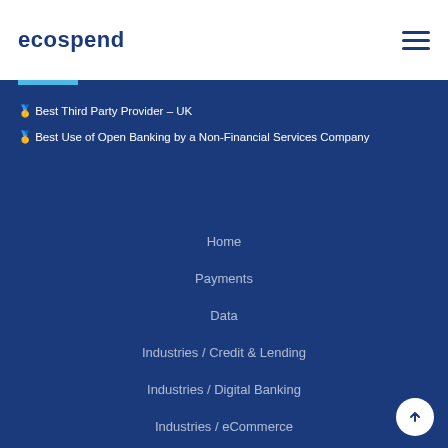ecospend
🥇 Best Third Party Provider – UK
🥇 Best Use of Open Banking by a Non-Financial Services Company
Home
Payments
Data
Industries / Credit & Lending
Industries / Digital Banking
Industries / eCommerce
Industries / iGaming